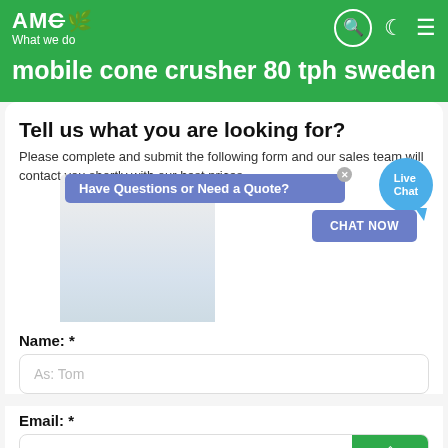AMC - What we do
mobile cone crusher 80 tph sweden
Tell us what you are looking for?
Please complete and submit the following form and our sales team will contact you shortly with our best prices.
Have Questions or Need a Quote?
CHAT NOW
Live Chat
Name: *
As: Tom
Email: *
As: vip@shanghaimeilan.com
Phone: *
With Country Code